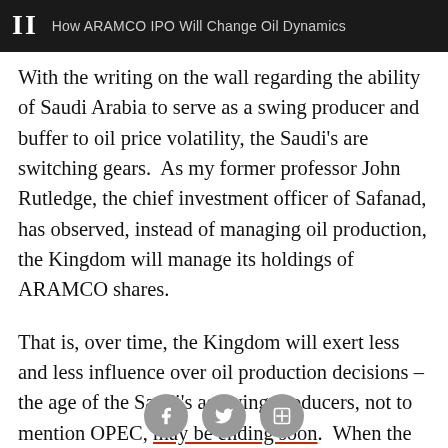II  How ARAMCO IPO Will Change Oil Dynamics
With the writing on the wall regarding the ability of Saudi Arabia to serve as a swing producer and buffer to oil price volatility, the Saudi's are switching gears.  As my former professor John Rutledge, the chief investment officer of Safanad, has observed, instead of managing oil production, the Kingdom will manage its holdings of ARAMCO shares.
That is, over time, the Kingdom will exert less and less influence over oil production decisions – the age of the Saudi's as swing producers, not to mention OPEC, may be ending soon.  When the Kingdom needs more money to fund its economic revitalization plans, it will simply